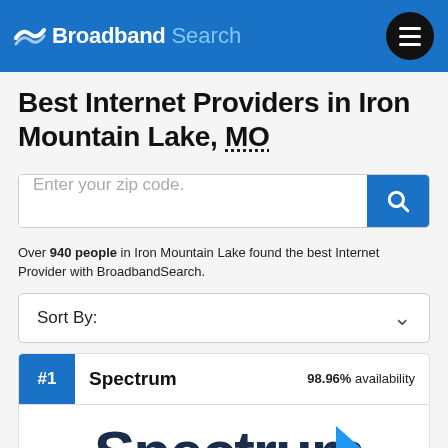Broadband Search
Best Internet Providers in Iron Mountain Lake, MO
Enter your zip code.
Over 940 people in Iron Mountain Lake found the best Internet Provider with BroadbandSearch.
Sort By:
#1  Spectrum  98.96% availability
[Figure (logo): Spectrum logo in dark navy blue with a blue triangle arrow to the right]